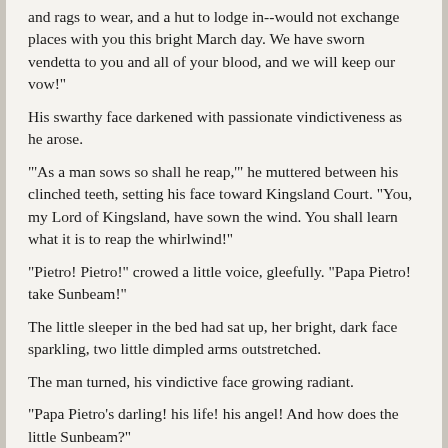and rags to wear, and a hut to lodge in--would not exchange places with you this bright March day. We have sworn vendetta to you and all of your blood, and we will keep our vow!"
His swarthy face darkened with passionate vindictiveness as he arose.
"'As a man sows so shall he reap,'" he muttered between his clinched teeth, setting his face toward Kingsland Court. "You, my Lord of Kingsland, have sown the wind. You shall learn what it is to reap the whirlwind!"
"Pietro! Pietro!" crowed a little voice, gleefully. "Papa Pietro! take Sunbeam!"
The little sleeper in the bed had sat up, her bright, dark face sparkling, two little dimpled arms outstretched.
The man turned, his vindictive face growing radiant.
"Papa Pietro's darling! his life! his angel! And how does the little Sunbeam?"
He caught her up, covering her face with kisses.
"My love! my life! my darling! When Pietro is dead, and Zara is old and feeble, and Zenith dust and ashes, you will live, my radiant angel, my black-eyed beauty, to perpetuate the malediction. When his son is a man, you will be a woman, with all a woman's subtle power and more than a woman's beauty, and you will be his curse, and his bane, and his blight, as his father has been ours! Will you